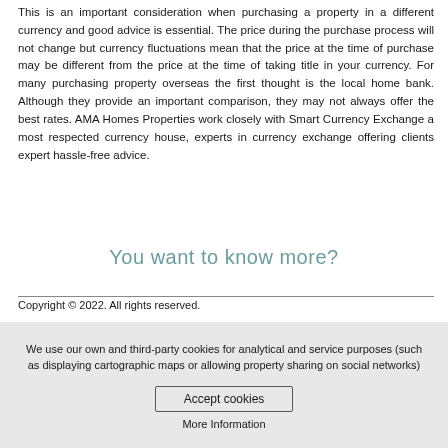This is an important consideration when purchasing a property in a different currency and good advice is essential. The price during the purchase process will not change but currency fluctuations mean that the price at the time of purchase may be different from the price at the time of taking title in your currency. For many purchasing property overseas the first thought is the local home bank. Although they provide an important comparison, they may not always offer the best rates. AMA Homes Properties work closely with Smart Currency Exchange a most respected currency house, experts in currency exchange offering clients expert hassle-free advice.
You want to know more?
Copyright © 2022. All rights reserved.
We use our own and third-party cookies for analytical and service purposes (such as displaying cartographic maps or allowing property sharing on social networks)
Accept cookies
More Information